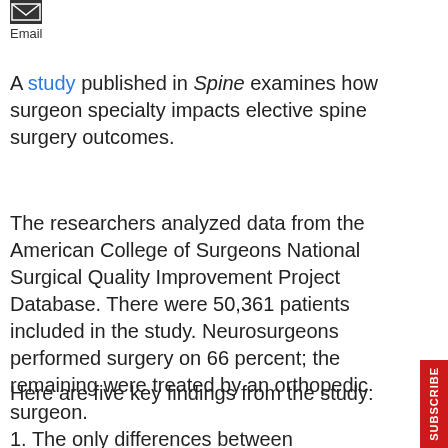[Figure (other): Small dark square email icon button]
Email
A study published in Spine examines how surgeon specialty impacts elective spine surgery outcomes.
The researchers analyzed data from the American College of Surgeons National Surgical Quality Improvement Project Database. There were 50,361 patients included in the study. Neurosurgeons performed surgery on 66 percent; the remaining were treated by an orthopedic surgeon.
Here are five key findings from the study:
1. The only differences between